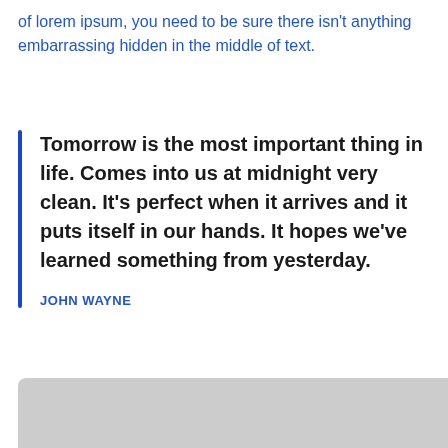of lorem ipsum, you need to be sure there isn't anything embarrassing hidden in the middle of text.
Tomorrow is the most important thing in life. Comes into us at midnight very clean. It's perfect when it arrives and it puts itself in our hands. It hopes we've learned something from yesterday.

JOHN WAYNE
[Figure (other): Gray placeholder box at bottom of page]